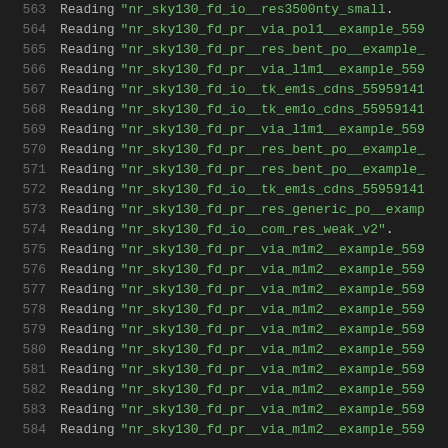563 Reading "nr_sky130_fd_io__res3500nty_small".
564 Reading "nr_sky130_fd_pr__via_pol1__example_559
565 Reading "nr_sky130_fd_pr__res_bent_po__example_
566 Reading "nr_sky130_fd_pr__via_l1m1__example_559
567 Reading "nr_sky130_fd_io__tk_em1s_cdns_55959141
568 Reading "nr_sky130_fd_io__tk_em1o_cdns_55959141
569 Reading "nr_sky130_fd_pr__via_l1m1__example_559
570 Reading "nr_sky130_fd_pr__res_bent_po__example_
571 Reading "nr_sky130_fd_pr__res_bent_po__example_
572 Reading "nr_sky130_fd_io__tk_em1s_cdns_55959141
573 Reading "nr_sky130_fd_pr__res_generic_po__examp
574 Reading "nr_sky130_fd_io__com_res_weak_v2".
575 Reading "nr_sky130_fd_pr__via_m1m2__example_559
576 Reading "nr_sky130_fd_pr__via_m1m2__example_559
577 Reading "nr_sky130_fd_pr__via_m1m2__example_559
578 Reading "nr_sky130_fd_pr__via_m1m2__example_559
579 Reading "nr_sky130_fd_pr__via_m1m2__example_559
580 Reading "nr_sky130_fd_pr__via_m1m2__example_559
581 Reading "nr_sky130_fd_pr__via_m1m2__example_559
582 Reading "nr_sky130_fd_pr__via_m1m2__example_559
583 Reading "nr_sky130_fd_pr__via_m1m2__example_559
584 Reading "nr_sky130_fd_pr__via_m1m2__example_559